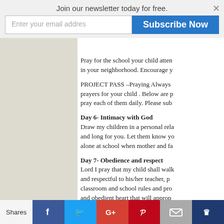Join our newsletter today for free.
Enter your email addres
Subscribe Now
Pray for the school your child atten in your neighborhood. Encourage y
PROJECT PASS –Praying Always prayers for your child . Below are p pray each of them daily. Please sub
Day 6- Intimacy with God
Draw my children in a personal rela and long for you. Let them know yo alone at school when mother and fa
Day 7- Obedience and respect
Lord I pray that my child shall walk and respectful to his/her teacher, p classroom and school rules and pro and obedient heart that will approp authorities that it may be well with m
Day 8- Self-control
Pray that your child will learn self-c
Shares